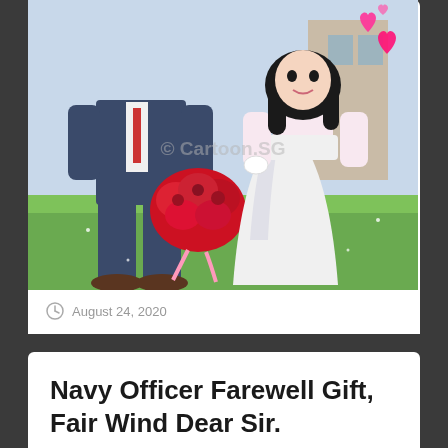[Figure (illustration): Cartoon illustration of a bride and groom couple. The groom is in a dark suit holding a large bouquet of red roses, the bride is in a white wedding dress with black hair. Pink heart decorations float in the upper right. Green grass background. Watermark reads © Cartoon.SG]
August 24, 2020
Navy Officer Farewell Gift, Fair Wind Dear Sir.